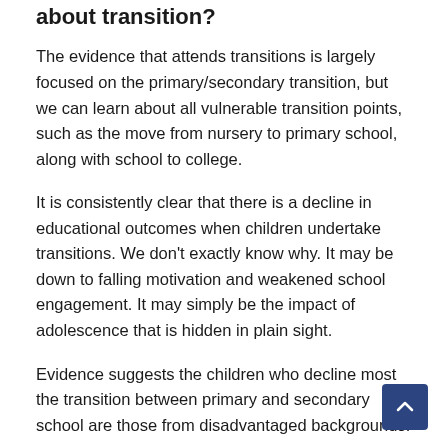about transition?
The evidence that attends transitions is largely focused on the primary/secondary transition, but we can learn about all vulnerable transition points, such as the move from nursery to primary school, along with school to college.
It is consistently clear that there is a decline in educational outcomes when children undertake transitions. We don't exactly know why. It may be down to falling motivation and weakened school engagement. It may simply be the impact of adolescence that is hidden in plain sight.
Evidence suggests the children who decline most the transition between primary and secondary school are those from disadvantaged backgrounds.